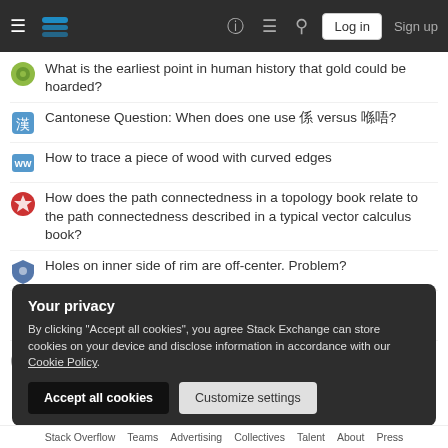Stack Exchange navigation bar with Log in and Sign up buttons
What is the earliest point in human history that gold could be hoarded?
Cantonese Question: When does one use 係 versus 喺唔?
How to trace a piece of wood with curved edges
How does the path connectedness in a topology book relate to the path connectedness described in a typical vector calculus book?
Holes on inner side of rim are off-center. Problem?
Why is pre-specification of punishment order necessary to manipulate compliance?
Moving a bottomless metal shed
Your privacy
By clicking "Accept all cookies", you agree Stack Exchange can store cookies on your device and disclose information in accordance with our Cookie Policy.
Stack Overflow   Teams   Advertising   Collectives   Talent   About   Press